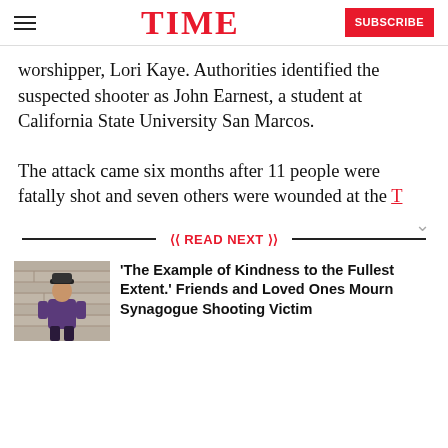TIME | SUBSCRIBE
worshipper, Lori Kaye. Authorities identified the suspected shooter as John Earnest, a student at California State University San Marcos.
The attack came six months after 11 people were fatally shot and seven others were wounded at the Tree of Life synagogue in Pittsburgh. The
READ NEXT
[Figure (photo): Thumbnail photo of a young girl standing against a stone wall, wearing a purple top and dark hat]
'The Example of Kindness to the Fullest Extent.' Friends and Loved Ones Mourn Synagogue Shooting Victim